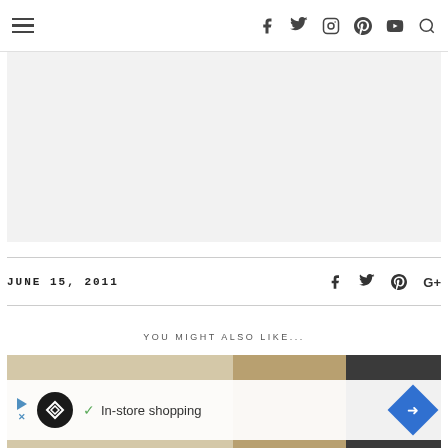Navigation header with hamburger menu and social icons: Facebook, Twitter, Instagram, Pinterest, YouTube, Search
[Figure (other): Gray advertisement banner area]
JUNE 15, 2011
YOU MIGHT ALSO LIKE...
[Figure (photo): Bottom image strip showing food/lifestyle photos with an ad overlay reading 'In-store shopping']